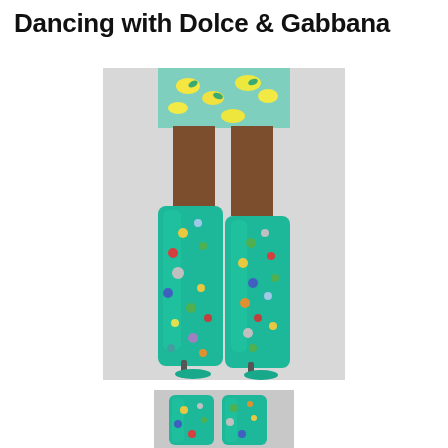Dancing with Dolce & Gabbana
[Figure (photo): A person wearing tall teal/turquoise knee-high stiletto boots embellished with colorful gemstones and crystals, paired with a yellow lemon-print dress. The boots are shown from mid-thigh down against a light grey background.]
[Figure (photo): A close-up thumbnail view of the same teal embellished Dolce & Gabbana boots, showing the gem detailing on the fabric.]